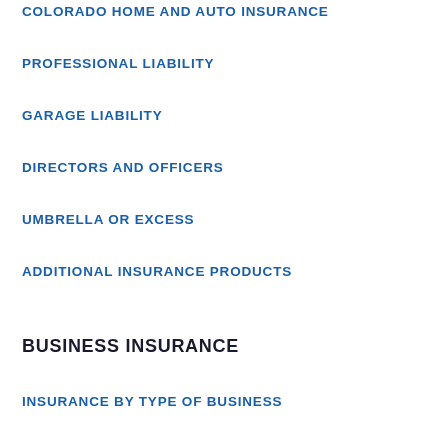COLORADO HOME AND AUTO INSURANCE
PROFESSIONAL LIABILITY
GARAGE LIABILITY
DIRECTORS AND OFFICERS
UMBRELLA OR EXCESS
ADDITIONAL INSURANCE PRODUCTS
BUSINESS INSURANCE
INSURANCE BY TYPE OF BUSINESS